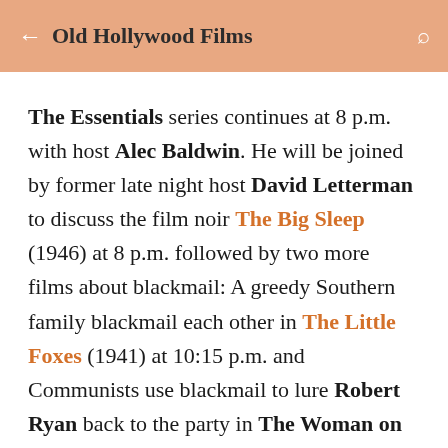Old Hollywood Films
The Essentials series continues at 8 p.m. with host Alec Baldwin. He will be joined by former late night host David Letterman to discuss the film noir The Big Sleep (1946) at 8 p.m. followed by two more films about blackmail: A greedy Southern family blackmail each other in The Little Foxes (1941) at 10:15 p.m. and Communists use blackmail to lure Robert Ryan back to the party in The Woman on Pier 13 (1950) at 12:30 a.m.